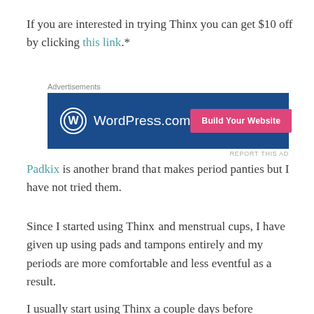If you are interested in trying Thinx you can get $10 off by clicking this link.*
[Figure (screenshot): WordPress.com advertisement banner with blue background, WordPress logo on left, and pink 'Build Your Website' button on right. Labeled 'Advertisements' above.]
Padkix is another brand that makes period panties but I have not tried them.
Since I started using Thinx and menstrual cups, I have given up using pads and tampons entirely and my periods are more comfortable and less eventful as a result.
I usually start using Thinx a couple days before